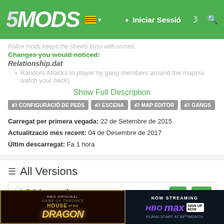[Figure (screenshot): 5Mods website header with green background, logo, Catalan flag, Iniciar Sessió login button, moon and search icons]
Police mods keeps the streets busy with crimes.
Changes you would noticed:
Relationship.dat
Random Attacks to player by gang members around the map(so watch your back)
Show Full Description
CONFIGURACIÓ DE PEDS  ESCENA  MAP EDITOR  GANGS
Carregat per primera vegada: 22 de Setembre de 2015
Actualització més recent: 04 de Desembre de 2017
Últim descarregat: Fa 1 hora
All Versions
7.3 (current)
20.415 descàrregues , 500 KB
04 de
[Figure (screenshot): House of the Dragon HBO Max advertisement banner at the bottom of the page]